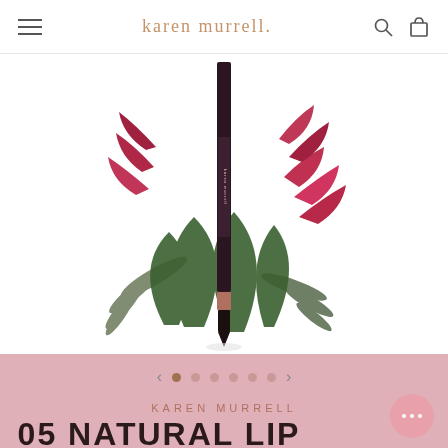karen murrell.
[Figure (photo): A cosmetic lip liner pencil with dark packaging, branded karen murrell, surrounded by tropical botanical illustration including red heliconia flowers and green fern leaves on a white background.]
< • ○ ○ ○ ○ ○ >
KAREN MURRELL
05 NATURAL LIP